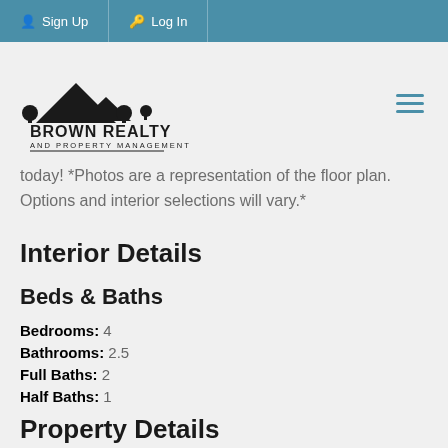Sign Up  Log In
[Figure (logo): Brown Realty and Property Management logo with rooftop silhouette icon]
today! *Photos are a representation of the floor plan. Options and interior selections will vary.*
Interior Details
Beds & Baths
Bedrooms: 4
Bathrooms: 2.5
Full Baths: 2
Half Baths: 1
Property Details